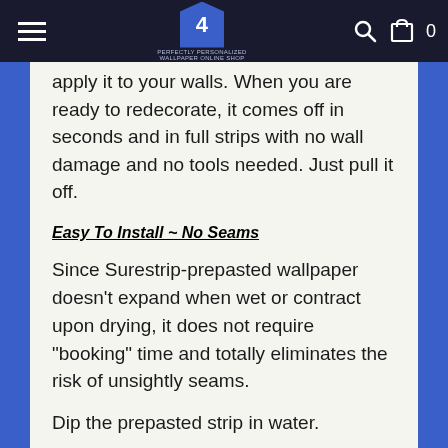4 [store logo and navigation]
apply it to your walls. When you are ready to redecorate, it comes off in seconds and in full strips with no wall damage and no tools needed. Just pull it off.
Easy To Install ~ No Seams
Since Surestrip-prepasted wallpaper doesn't expand when wet or contract upon drying, it does not require "booking" time and totally eliminates the risk of unsightly seams.
Dip the prepasted strip in water.
No special adhesives required.
No booking required.